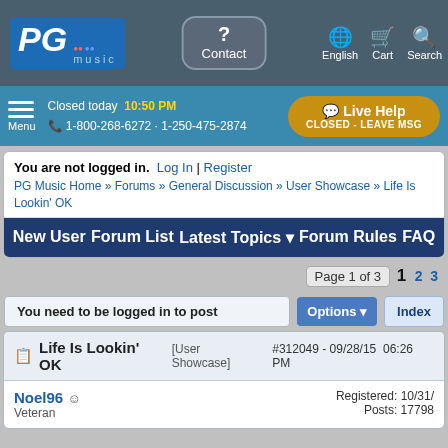PG music | Contact | English | Cart | Search
Closed today  10:50 PM  1-800-268-6272 · 1-250-475-2874  Live Help CLOSED - LEAVE MSG  Menu
You are not logged in. Log In | Register
PG Music Home » Forums » General Discussion » User Showcase » Life Is Lookin' OK
New User  Forum List  Latest Topics  Forum Rules  FAQ
Page 1 of 3  1  2  3
You need to be logged in to post  Options  Index
Life Is Lookin' OK  [User Showcase]  #312049 - 09/28/15  06:26 PM
Noel96  Veteran  Registered: 10/31/  Posts: 17798